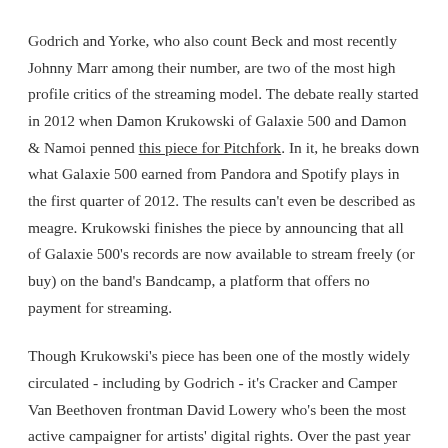Godrich and Yorke, who also count Beck and most recently Johnny Marr among their number, are two of the most high profile critics of the streaming model. The debate really started in 2012 when Damon Krukowski of Galaxie 500 and Damon & Namoi penned this piece for Pitchfork. In it, he breaks down what Galaxie 500 earned from Pandora and Spotify plays in the first quarter of 2012. The results can't even be described as meagre. Krukowski finishes the piece by announcing that all of Galaxie 500's records are now available to stream freely (or buy) on the band's Bandcamp, a platform that offers no payment for streaming.
Though Krukowski's piece has been one of the mostly widely circulated - including by Godrich - it's Cracker and Camper Van Beethoven frontman David Lowery who's been the most active campaigner for artists' digital rights. Over the past year he's done everything from release a study of the most undesirable lyric sites - which led to the National Music Publishers Association filing take